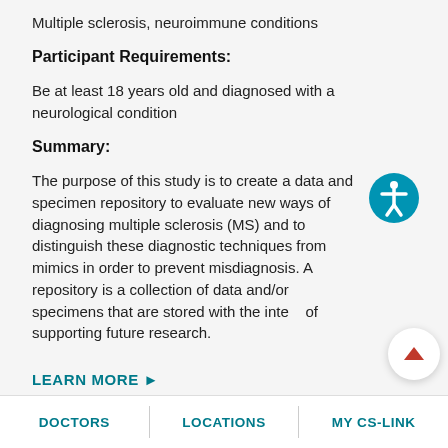Multiple sclerosis, neuroimmune conditions
Participant Requirements:
Be at least 18 years old and diagnosed with a neurological condition
Summary:
The purpose of this study is to create a data and specimen repository to evaluate new ways of diagnosing multiple sclerosis (MS) and to distinguish these diagnostic techniques from mimics in order to prevent misdiagnosis. A repository is a collection of data and/or specimens that are stored with the intent of supporting future research.
LEARN MORE ▶
DOCTORS | LOCATIONS | MY CS-LINK